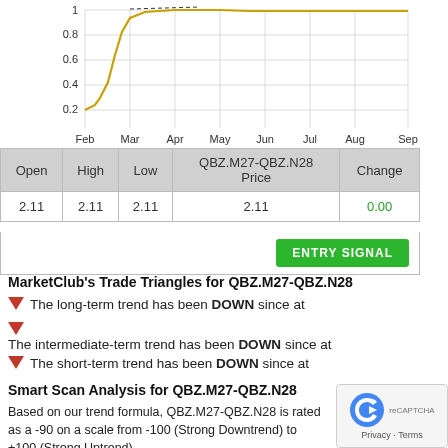[Figure (continuous-plot): Line chart showing price data for QBZ.M27-QBZ.N28 from February to September, y-axis from 0.2 to 1.0+, with a gold/yellow line rising sharply in Feb-Mar then leveling off]
| Open | High | Low | QBZ.M27-QBZ.N28 Price | Change |
| --- | --- | --- | --- | --- |
| 2.11 | 2.11 | 2.11 | 2.11 | 0.00 |
MarketClub's Trade Triangles for QBZ.M27-QBZ.N28
The long-term trend has been DOWN since at
The intermediate-term trend has been DOWN since at
The short-term trend has been DOWN since at
Smart Scan Analysis for QBZ.M27-QBZ.N28
Based on our trend formula, QBZ.M27-QBZ.N28 is rated as a -90 on a scale from -100 (Strong Downtrend) to +100 (Strong Uptrend).
90